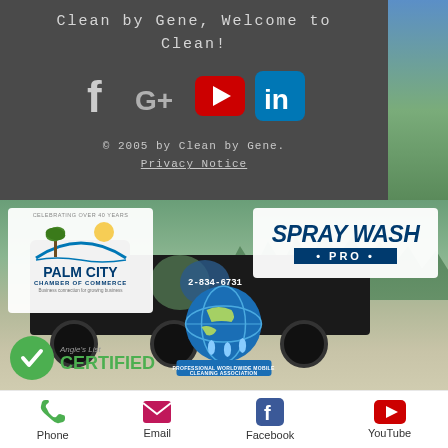Clean by Gene, Welcome to Clean!
[Figure (infographic): Social media icons: Facebook (f), Google+ (G+), YouTube (red play button), LinkedIn (blue in)]
© 2005 by Clean by Gene.
Privacy Notice
[Figure (photo): A pressure washing truck with logos for Palm City Chamber of Commerce, Spray Wash Pro, PWMCA (Professional Worldwide Mobile Cleaning Association), and Angie's List Certified badge overlaid on a parking lot scene]
Phone   Email   Facebook   YouTube